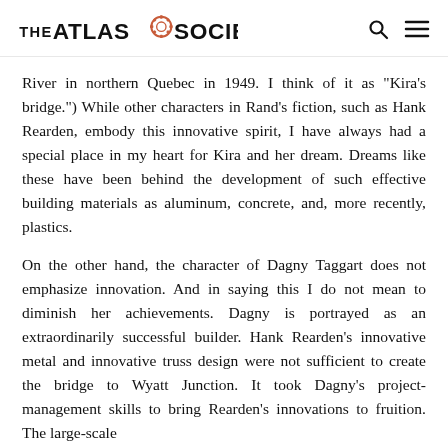THE ATLAS SOCIETY
River in northern Quebec in 1949. I think of it as "Kira's bridge.") While other characters in Rand's fiction, such as Hank Rearden, embody this innovative spirit, I have always had a special place in my heart for Kira and her dream. Dreams like these have been behind the development of such effective building materials as aluminum, concrete, and, more recently, plastics.
On the other hand, the character of Dagny Taggart does not emphasize innovation. And in saying this I do not mean to diminish her achievements. Dagny is portrayed as an extraordinarily successful builder. Hank Rearden's innovative metal and innovative truss design were not sufficient to create the bridge to Wyatt Junction. It took Dagny's project-management skills to bring Rearden's innovations to fruition. The large-scale